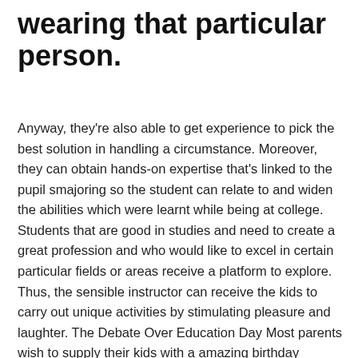wearing that particular person.
Anyway, they're also able to get experience to pick the best solution in handling a circumstance. Moreover, they can obtain hands-on expertise that's linked to the pupil smajoring so the student can relate to and widen the abilities which were learnt while being at college. Students that are good in studies and need to create a great profession and who would like to excel in certain particular fields or areas receive a platform to explore. Thus, the sensible instructor can receive the kids to carry out unique activities by stimulating pleasure and laughter. The Debate Over Education Day Most parents wish to supply their kids with a amazing birthday experience and hiring somebody to deal with the details takes a number of the strain from this circumstance. Thus, the parents using middle-class income could also manage to send their child in a wonderful faculty with extracurricular activities to receive a better education and total development. If you are a parent and also are concerned about your kid's college in India, OSA invites you to receive online and